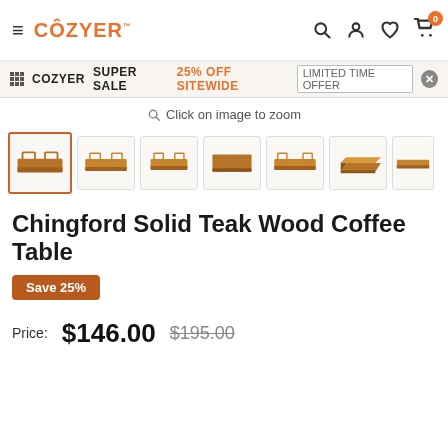COZYER — navigation bar with search, account, wishlist, cart (0)
COZYER SUPER SALE 25% OFF SITEWIDE LIMITED TIME OFFER
Click on image to zoom
[Figure (photo): Thumbnail strip of Chingford Solid Teak Wood Coffee Table product images — 7 thumbnails showing the table from various angles]
Chingford Solid Teak Wood Coffee Table
Save 25%
Price: $146.00 $195.00